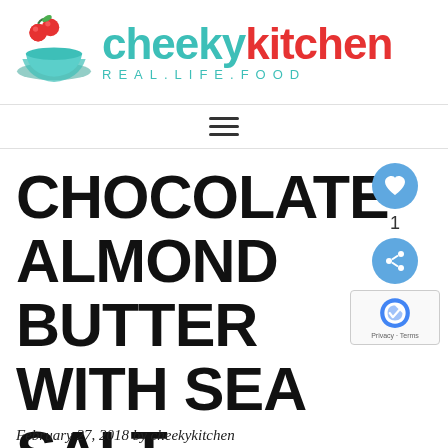[Figure (logo): Cheeky Kitchen logo with bowl and cherries illustration, brand name 'cheeky kitchen' in teal and red, tagline 'REAL.LIFE.FOOD' in teal]
≡
CHOCOLATE ALMOND BUTTER WITH SEA SALT